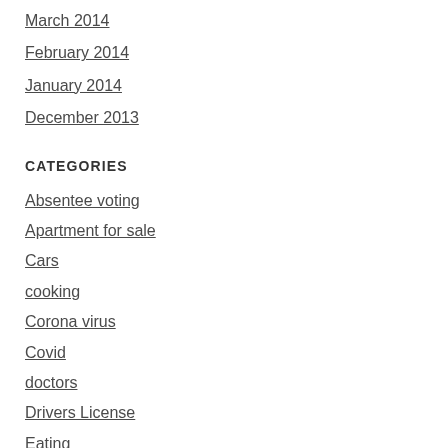March 2014
February 2014
January 2014
December 2013
CATEGORIES
Absentee voting
Apartment for sale
Cars
cooking
Corona virus
Covid
doctors
Drivers License
Eating
everyday life in Umbria
Festivals and Sagras